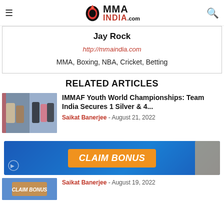MMA INDIA.com
Jay Rock
http://mmaindia.com
MMA, Boxing, NBA, Cricket, Betting
RELATED ARTICLES
[Figure (photo): Two photos of MMA fighters/team at an event]
IMMAF Youth World Championships: Team India Secures 1 Silver & 4...
Saikat Banerjee - August 21, 2022
[Figure (photo): Advertisement banner with CLAIM BONUS button and woman figure on blue background]
Saikat Banerjee - August 19, 2022